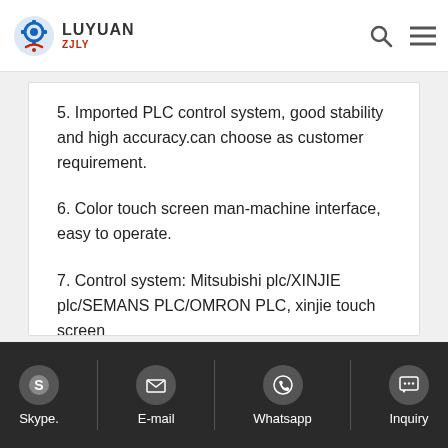LUYUAN ZJLY
5. Imported PLC control system, good stability and high accuracy.can choose as customer requirement.
6. Color touch screen man-machine interface, easy to operate.
7. Control system: Mitsubishi plc/XINJIE plc/SEMANS PLC/OMRON PLC, xinjie touch screen
Skype.   E-mail   Whatsapp   Inquiry